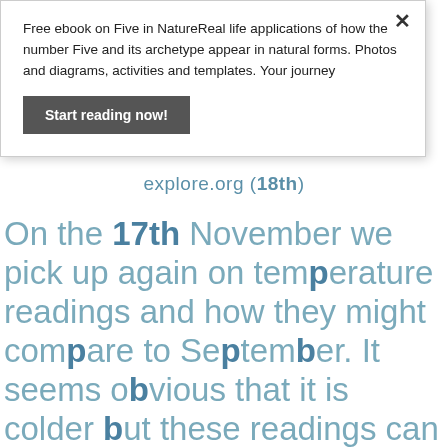Free ebook on Five in NatureReal life applications of how the number Five and its archetype appear in natural forms. Photos and diagrams, activities and templates. Your journey
Start reading now!
explore.org (18th)
On the 17th November we pick up again on temperature readings and how they might compare to September. It seems obvious that it is colder but these readings can be made into simple charts and graphs that support the visualising of maths